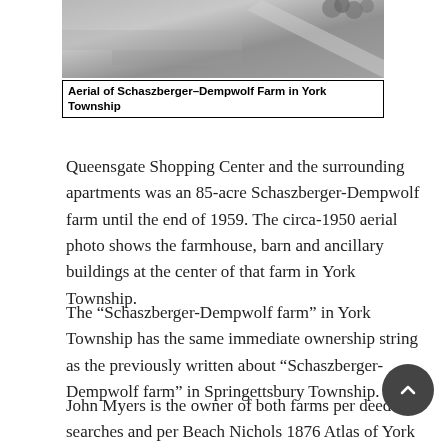[Figure (photo): Aerial photograph of Schaszberger-Dempwolf Farm in York Township, circa 1950, showing farmhouse, barn and ancillary buildings at the center of the farm.]
Aerial of Schaszberger–Dempwolf Farm in York Township
Queensgate Shopping Center and the surrounding apartments was an 85-acre Schaszberger-Dempwolf farm until the end of 1959. The circa-1950 aerial photo shows the farmhouse, barn and ancillary buildings at the center of that farm in York Township.
The “Schaszberger-Dempwolf farm” in York Township has the same immediate ownership string as the previously written about “Schaszberger-Dempwolf farm” in Springettsbury Township.
John Myers is the owner of both farms per deed searches and per Beach Nichols 1876 Atlas of York County. Upon John Myers’ death in 1890, his